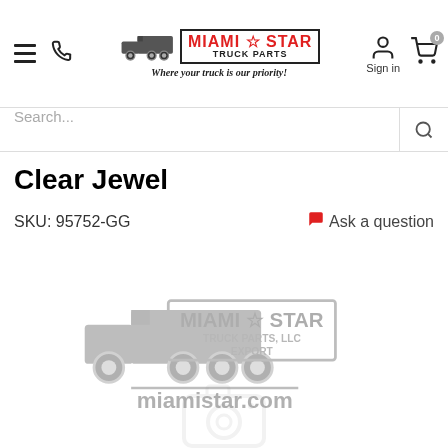Miami Star Truck Parts — Where your truck is our priority!
Search...
Clear Jewel
SKU: 95752-GG
Ask a question
[Figure (logo): Miami Star Truck Parts LLC Export watermark logo with truck graphic and miamistar.com text]
[Figure (photo): Camera icon placeholder indicating no product photo available]